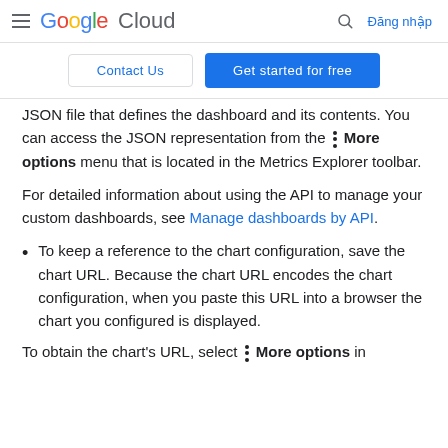Google Cloud — Đăng nhập
Contact Us | Get started for free
JSON file that defines the dashboard and its contents. You can access the JSON representation from the ⋮ More options menu that is located in the Metrics Explorer toolbar.
For detailed information about using the API to manage your custom dashboards, see Manage dashboards by API.
To keep a reference to the chart configuration, save the chart URL. Because the chart URL encodes the chart configuration, when you paste this URL into a browser the chart you configured is displayed.
To obtain the chart's URL, select ⋮ More options in